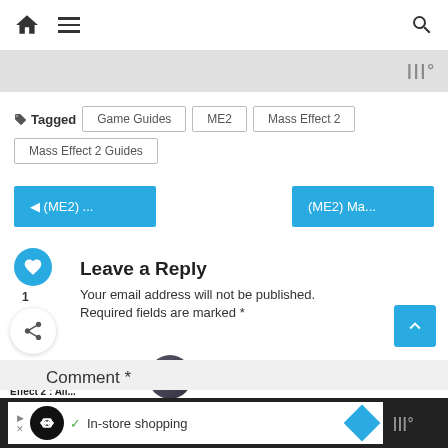Navigation bar with home, menu, and search icons
Tagged  Game Guides  ME2  Mass Effect 2  Mass Effect 2 Guides
◄ (ME2) ...
(ME2) Ma...
Leave a Reply
Your email address will not be published.
Required fields are marked *
Comment *
WHAT'S NEXT → (ME2) Mass Effect 2 : All...
In-store shopping (advertisement)